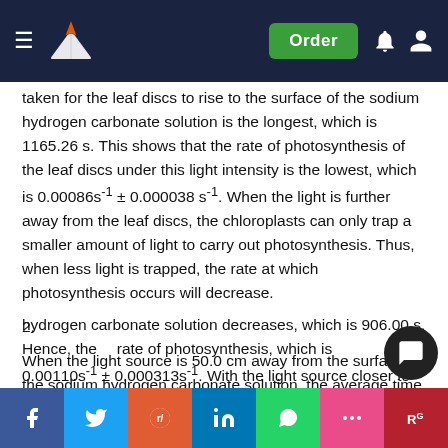Navigation bar with logo, Order button, and icons
taken for the leaf discs to rise to the surface of the sodium hydrogen carbonate solution is the longest, which is 1165.26 s. This shows that the rate of photosynthesis of the leaf discs under this light intensity is the lowest, which is 0.00086s-1 ± 0.000038 s-1. When the light is further away from the leaf discs, the chloroplasts can only trap a smaller amount of light to carry out photosynthesis. Thus, when less light is trapped, the rate at which photosynthesis occurs will decrease.
2.
When the light source is 50.0 cm away from the surface of the sodium hydrogen carbonate solution, the average time taken for the leaf discs to rise to the surface of the sodium hydrogen carbonate solution decreases, which is 906.00 s. Hence, the rate of photosynthesis increases, which is 0.00110s-1 ± 0.000313s-1. With the light source closer to